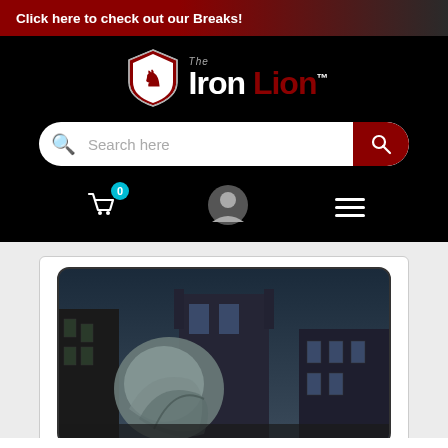Click here to check out our Breaks!
[Figure (logo): The Iron Lion logo with shield and lion crest, white and red text on black background]
Search here
[Figure (screenshot): A Magic: The Gathering card named 'Lumpensammler' with mana cost 2 black black, showing a creature in a dark city street illustration]